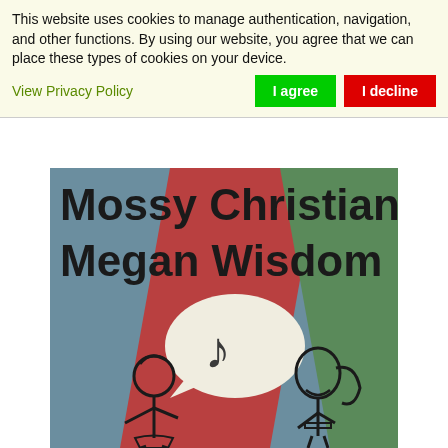This website uses cookies to manage authentication, navigation, and other functions. By using our website, you agree that we can place these types of cookies on your device.
View Privacy Policy
I agree
I decline
[Figure (illustration): Book cover for 'Mossy Christian Megan Wisdom' showing two cartoon figures (a woman on the left on a red background and a man with a ponytail on the right on a green background) facing each other with a speech bubble containing a musical note between them. The background is a muted teal/slate color.]